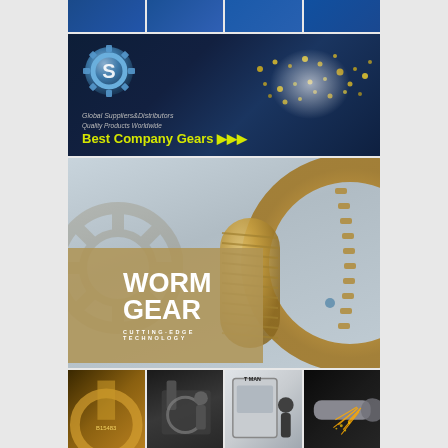[Figure (photo): Top strip of four small product photos showing industrial equipment/machines in blue tones]
[Figure (infographic): Dark blue banner with chrome gear logo, world map with golden gear dots, text: Global Suppliers&Distributors, Quality Products Worldwide, Best Company Gears]
[Figure (photo): Large worm gear marketing image: golden/tan overlay box with text WORM GEAR CUTTING-EDGE TECHNOLOGY, large brass/bronze worm gear and ring gear visible on right]
[Figure (photo): Bottom strip of four photos showing gear manufacturing processes: close-up of brass gear, machining center, operator at CNC machine labeled T-MAN, metal lathe sparks]